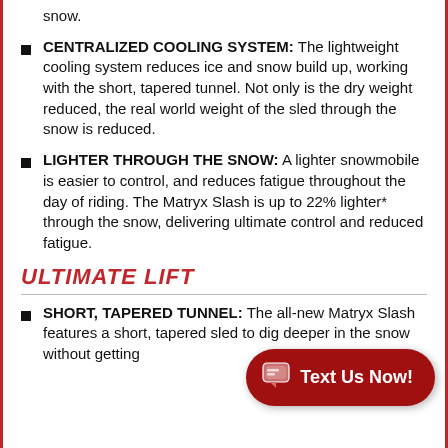snow.
CENTRALIZED COOLING SYSTEM: The lightweight cooling system reduces ice and snow build up, working with the short, tapered tunnel. Not only is the dry weight reduced, the real world weight of the sled through the snow is reduced.
LIGHTER THROUGH THE SNOW: A lighter snowmobile is easier to control, and reduces fatigue throughout the day of riding. The Matryx Slash is up to 22% lighter* through the snow, delivering ultimate control and reduced fatigue.
ULTIMATE LIFT
SHORT, TAPERED TUNNEL: The all-new Matryx Slash features a short, tapered sled to dig deeper in the snow without getting